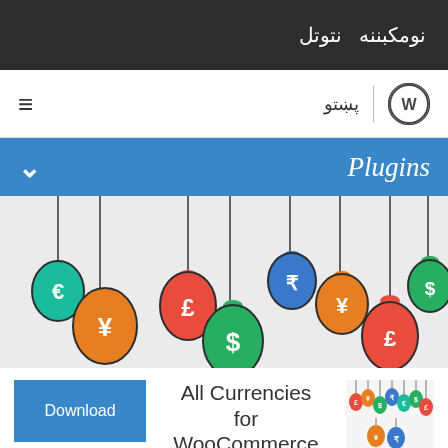نومکبننه نتوتل
پښتو | WordPress
Plugins
[Figure (illustration): Banner image showing colorful hanging money bags with currency symbols (Euro, Pound, Dollar, Yen, Rupee) on a light gray background]
Download
All Currencies for WooCommerce
[Figure (illustration): Small thumbnail showing colorful hanging money bag icons with currency symbols]